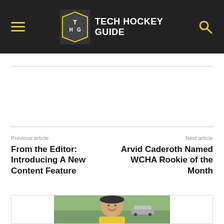Tech Hockey Guide
Previous article
From the Editor: Introducing A New Content Feature
Next article
Arvid Caderoth Named WCHA Rookie of the Month
[Figure (photo): Author profile photo showing a smiling man in a cap and yellow jersey, outdoor setting]